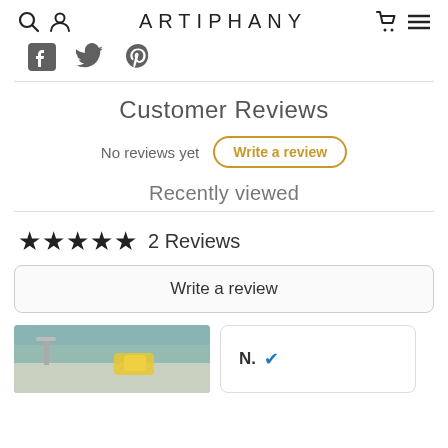ARTIPHANY
[Figure (other): Social share icons: Facebook, Twitter, Pinterest]
Customer Reviews
No reviews yet   Write a review
Recently viewed
★★★★★ 2 Reviews
Write a review
[Figure (photo): Photo of someone cleaning a surface with a yellow cloth]
N. ✓